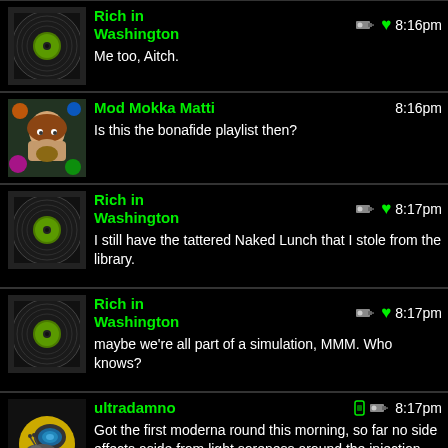Rich in Washington: Me too, Aitch. 8:16pm
Mod Mokka Matti: Is this the bonafide playlist then? 8:16pm
Rich in Washington: I still have the tattered Naked Lunch that I stole from the library. 8:17pm
Rich in Washington: maybe we're all part of a simulation, MMM. Who knows? 8:17pm
ultradamno: Got the first moderna round this morning, so far no side effects aside from light soreness around the injection site. 8:17pm
StringOFperils: This is the Ne-Plus-Ultra playlist. 8:17pm
Aitch: 8:17pm